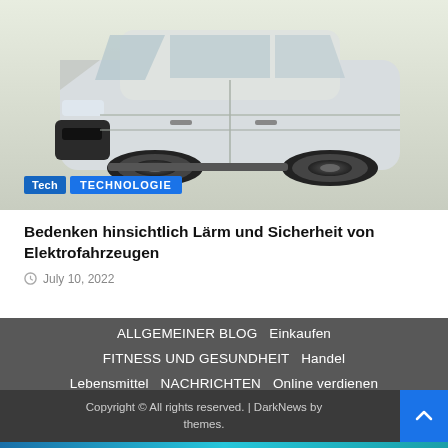[Figure (photo): Electric vehicle (small boxy EV) in light green/white color shown from a low front-side angle. Two category tags overlay the bottom-left: 'Tech' in blue and 'TECHNOLOGIE' in blue.]
Bedenken hinsichtlich Lärm und Sicherheit von Elektrofahrzeugen
July 10, 2022
ALLGEMEINER BLOG   Einkaufen   FITNESS UND GESUNDHEIT   Handel   Lebensmittel   NACHRICHTEN   Online verdienen   STIL UND MODE   TAGESSCHAUFY   Tech   TECHNOLOGIE   Vermarktung
Copyright © All rights reserved. | DarkNews by themes.